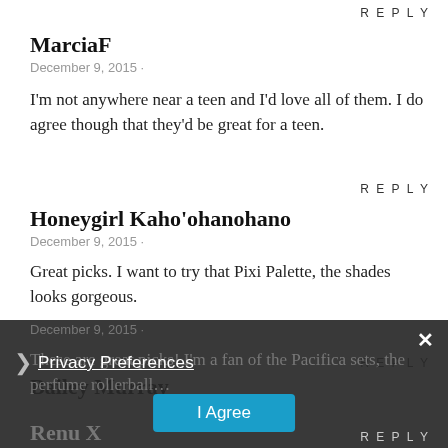REPLY
MarciaF
December 9, 2015 ·
I'm not anywhere near a teen and I'd love all of them. I do agree though that they'd be great for a teen.
REPLY
Honeygirl Kaho'ohanohano
December 9, 2015 ·
Great picks. I want to try that Pixi Palette, the shades looks gorgeous.
REPLY
Bailey Murray
December 9, 2015 ·
These are great picks! I'm a fan of the Pacifica sets, the perfume rollerball…
REPLY
Renu X
× Privacy Preferences I Agree